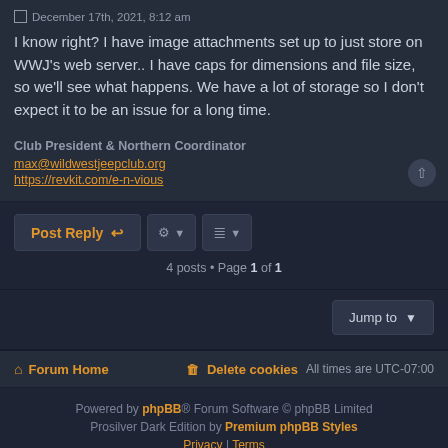December 17th, 2021, 8:12 am
I know right? I have image attachments set up to just store on WWJ's web server.. I have caps for dimensions and file size, so we'll see what happens. We have a lot of storage so I don't expect it to be an issue for a long time.
Club President & Northern Coordinator
max@wildwestjeepclub.org
https://revkit.com/e-n-vious
Post Reply
4 posts • Page 1 of 1
Jump to
Forum Home
Delete cookies  All times are UTC-07:00
Powered by phpBB® Forum Software © phpBB Limited
Prosilver Dark Edition by Premium phpBB Styles
Privacy | Terms